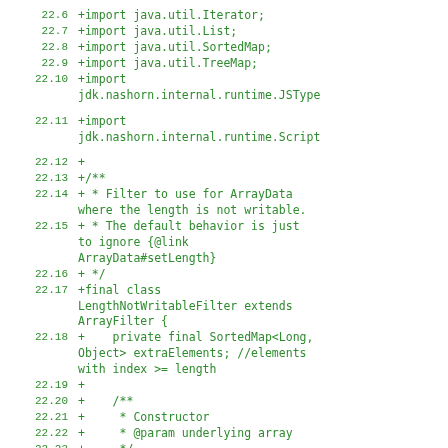22.6  +import java.util.Iterator;
22.7  +import java.util.List;
22.8  +import java.util.SortedMap;
22.9  +import java.util.TreeMap;
22.10 +import jdk.nashorn.internal.runtime.JSType
22.11 +import jdk.nashorn.internal.runtime.Script
22.12 +
22.13 +/**
22.14 + * Filter to use for ArrayData where the length is not writable.
22.15 + * The default behavior is just to ignore {@link ArrayData#setLength}
22.16 + */
22.17 +final class LengthNotWritableFilter extends ArrayFilter {
22.18 +    private final SortedMap<Long, Object> extraElements; //elements with index >= length
22.19 +
22.20 +    /**
22.21 +     * Constructor
22.22 +     * @param underlying array
22.23 +     */